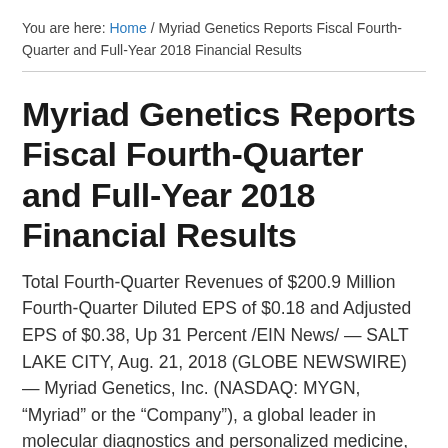You are here: Home / Myriad Genetics Reports Fiscal Fourth-Quarter and Full-Year 2018 Financial Results
Myriad Genetics Reports Fiscal Fourth-Quarter and Full-Year 2018 Financial Results
Total Fourth-Quarter Revenues of $200.9 Million Fourth-Quarter Diluted EPS of $0.18 and Adjusted EPS of $0.38, Up 31 Percent /EIN News/ — SALT LAKE CITY, Aug. 21, 2018 (GLOBE NEWSWIRE) — Myriad Genetics, Inc. (NASDAQ: MYGN, “Myriad” or the “Company”), a global leader in molecular diagnostics and personalized medicine, today